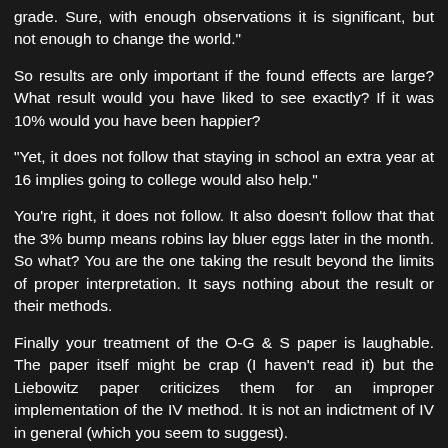grade. Sure, with enough observations it is significant, but not enough to change the world."
So results are only important if the found effects are large? What result would you have liked to see exactly? If it was 10% would you have been happier?
"Yet, it does not follow that staying in school an extra year at 16 implies going to college would also help."
You're right, it does not follow. It also doesn't follow that that the 3% bump means robins lay bluer eggs later in the month. So what? You are the one taking the result beyond the limits of proper interpretation. It says nothing about the result or their methods.
Finally your treatment of the O-G & S paper is laughable. The paper itself might be crap (I haven't read it) but the Liebowitz paper criticizes them for an improper implementation of the IV method. It is not an indictment of IV in general (which you seem to suggest).